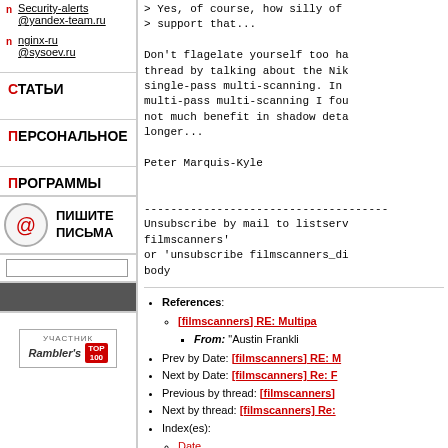Security-alerts @yandex-team.ru
nginx-ru @sysoev.ru
СТАТЬИ
ПЕРСОНАЛЬНОЕ
ПРОГРАММЫ
ПИШИТЕ ПИСЬМА
> Yes, of course, how silly of
> support that...

Don't flagelate yourself too ha thread by talking about the Nik single-pass multi-scanning. In multi-pass multi-scanning I fou not much benefit in shadow deta longer...

Peter Marquis-Kyle
Unsubscribe by mail to listserv filmscanners'
or 'unsubscribe filmscanners_di body
References:
[filmscanners] RE: Multipa
From: "Austin Frankli
Prev by Date: [filmscanners] RE: M
Next by Date: [filmscanners] Re: F
Previous by thread: [filmscanners]
Next by thread: [filmscanners] Re:
Index(es):
Date